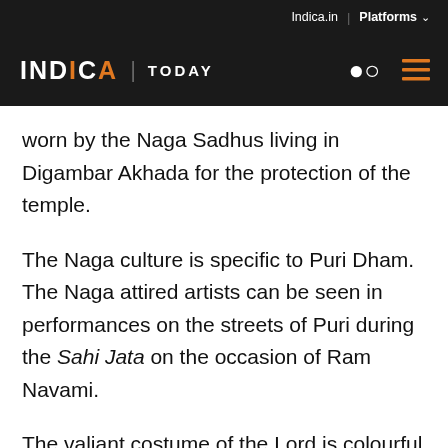Indica.in | Platforms
INDICA | TODAY
worn by the Naga Sadhus living in Digambar Akhada for the protection of the temple.
The Naga culture is specific to Puri Dham. The Naga attired artists can be seen in performances on the streets of Puri during the Sahi Jata on the occasion of Ram Navami.
The valiant costume of the Lord is colourful and majestic. Festooned with sixteen types of